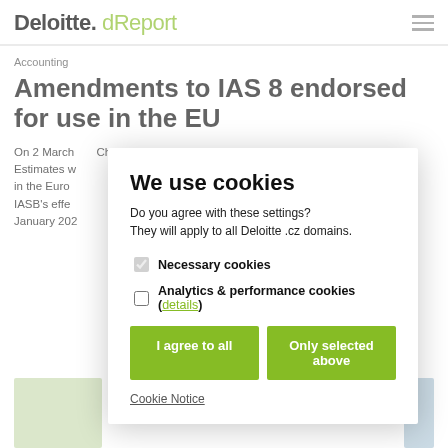Deloitte. dReport
Accounting
Amendments to IAS 8 endorsed for use in the EU
On 2 March ... Changes in ... Estimates w... in the Euro... IASB's effe... January 202...
We use cookies
Do you agree with these settings?
They will apply to all Deloitte .cz domains.

Necessary cookies
Analytics & performance cookies (details)

I agree to all | Only selected above

Cookie Notice